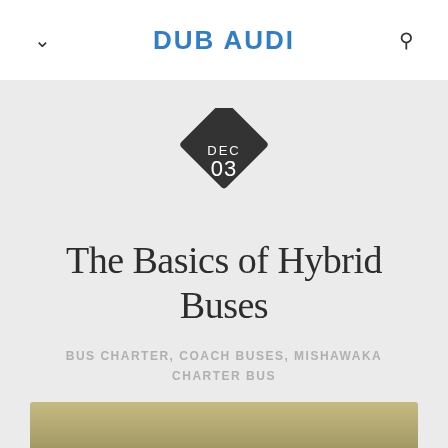DUB AUDI
[Figure (infographic): Dark diamond/rhombus shaped date badge with text DEC 03 in white]
The Basics of Hybrid Buses
BUS CHARTER, COACH BUSES, MISHAWAKA CHARTER BUS
[Figure (photo): Partial photograph of a bus interior or exterior, showing gold/green tones at the bottom of the page]